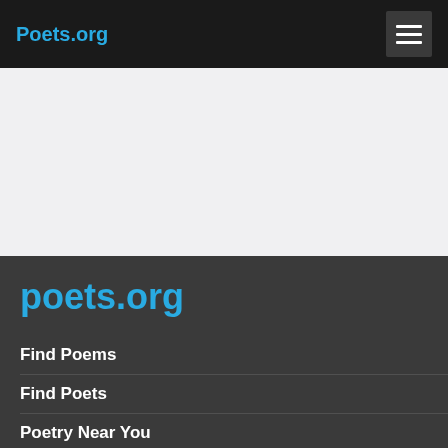Poets.org
poets.org
Find Poems
Find Poets
Poetry Near You
Jobs for Poets
Read Stanza
Privacy Policy
Press Center